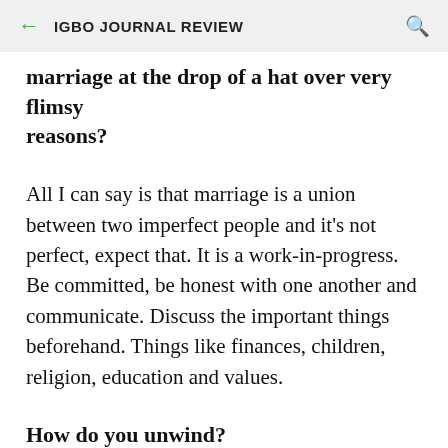IGBO JOURNAL REVIEW
marriage at the drop of a hat over very flimsy reasons?
All I can say is that marriage is a union between two imperfect people and it's not perfect, expect that. It is a work-in-progress. Be committed, be honest with one another and communicate. Discuss the important things beforehand. Things like finances, children, religion, education and values.
How do you unwind?